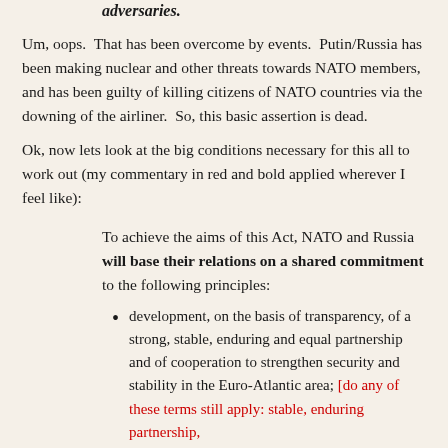NATO and Russia do not consider each other as adversaries.
Um, oops. That has been overcome by events. Putin/Russia has been making nuclear and other threats towards NATO members, and has been guilty of killing citizens of NATO countries via the downing of the airliner. So, this basic assertion is dead.
Ok, now lets look at the big conditions necessary for this all to work out (my commentary in red and bold applied wherever I feel like):
To achieve the aims of this Act, NATO and Russia will base their relations on a shared commitment to the following principles:
development, on the basis of transparency, of a strong, stable, enduring and equal partnership and of cooperation to strengthen security and stability in the Euro-Atlantic area; [do any of these terms still apply: stable, enduring partnership,